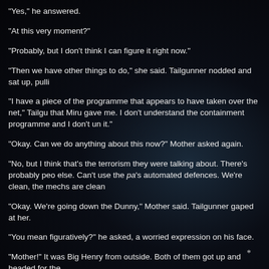“Yes,” he answered.
“At this very moment?”
“Probably, but I don’t think I can figure it right now.”
“Then we have other things to do,” she said.  Tailgunner nodded and sat up, pulli
“I have a piece of the programme that appears to have taken over the net,” Tailgu that Miru gave me.  I don’t understand the containment programme and I don’t un it.”
“Okay.  Can we do anything about this now?” Mother asked again.
“No, but I think that’s the terrorism they were talking about.  There’s probably peo else.  Can’t use the pa’s automated defences.  We’re clean, the mechs are clean
“Okay.  We’re going down the Dunny,” Mother said.  Tailgunner gaped at her.
“You mean figuratively?” he asked, a worried expression on his face.
“Mother!”  It was Big Henry from outside.  Both of them got up and headed for the
*